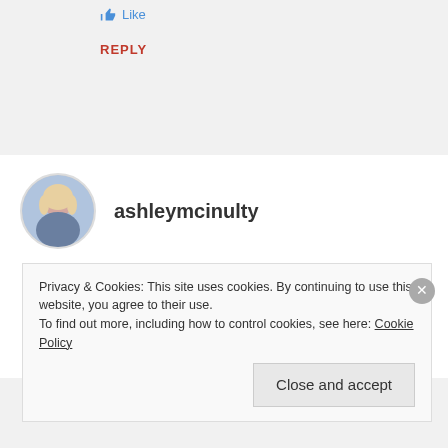Like
REPLY
ashleymcinulty
JANUARY 22, 2017 AT 7:07 PM
Haha, thanks for reading Ali Bali! Never used one since.... sending you lots of love xxxxxx
Privacy & Cookies: This site uses cookies. By continuing to use this website, you agree to their use.
To find out more, including how to control cookies, see here: Cookie Policy
Close and accept